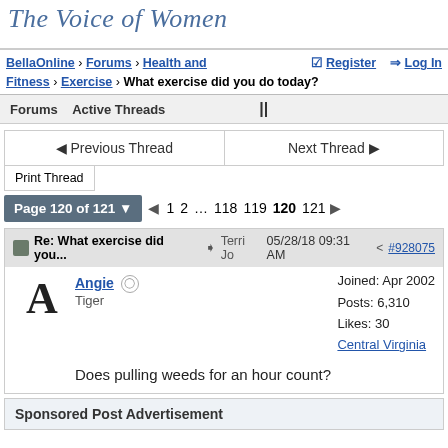The Voice of Women
BellaOnline › Forums › Health and Fitness › Exercise › What exercise did you do today? Register Log In
Forums   Active Threads
◄ Previous Thread   Next Thread ►
Print Thread
Page 120 of 121 ▼  ◄  1  2  ...  118  119  120  121  ►
Re: What exercise did you... → Terri Jo  05/28/18 09:31 AM  #928075
Angie (offline) Tiger  Joined: Apr 2002  Posts: 6,310  Likes: 30  Central Virginia
Does pulling weeds for an hour count?
Sponsored Post Advertisement